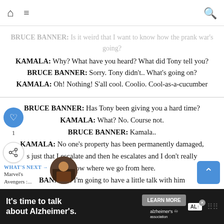Navigation bar with home, menu, and search icons
BRUCE BANNER: Is it weird that I want to know how the prank war's going?
KAMALA: Why? What have you heard? What did Tony tell you?
BRUCE BANNER: Sorry. Tony didn't.. What's going on?
KAMALA: Oh! Nothing! S'all cool. Coolio. Cool-as-a-cucumber
BRUCE BANNER: Has Tony been giving you a hard time?
KAMALA: What? No. Course not.
BRUCE BANNER: Kamala..
KAMALA: No one's property has been permanently damaged, s just that I escalate and then he escalates and I don't really know where we go from here.
BANNER: I'm going to have a little talk with him
KAMALA: No! If Tony knows I told you he'll use it against me
BRUCE BANNER: This is getting childish
WHAT'S NEXT → Marvel's Avengers :...
Ad: It's time to talk about Alzheimer's. LEARN MORE